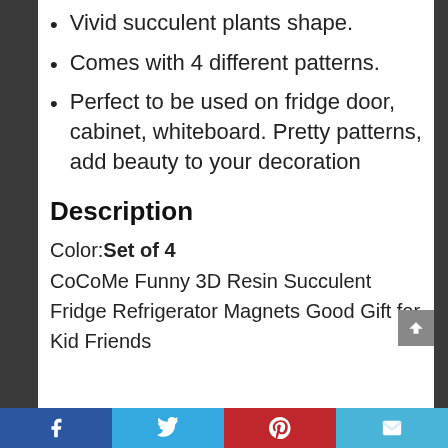Vivid succulent plants shape.
Comes with 4 different patterns.
Perfect to be used on fridge door, cabinet, whiteboard. Pretty patterns, add beauty to your decoration
Description
Color: Set of 4
CoCoMe Funny 3D Resin Succulent Fridge Refrigerator Magnets Good Gift for Kid Friends